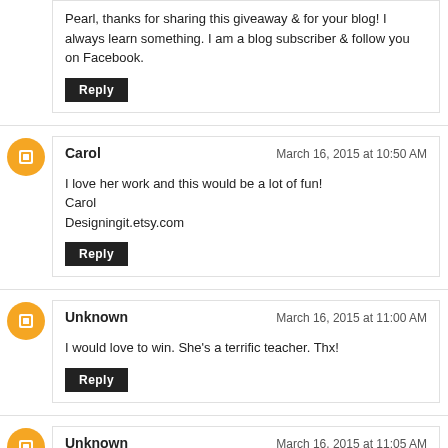Pearl, thanks for sharing this giveaway & for your blog! I always learn something. I am a blog subscriber & follow you on Facebook.
Reply
Carol — March 16, 2015 at 10:50 AM
I love her work and this would be a lot of fun!
Carol
Designingit.etsy.com
Reply
Unknown — March 16, 2015 at 11:00 AM
I would love to win. She's a terrific teacher. Thx!
Reply
Unknown — March 16, 2015 at 11:05 AM
Wonderful workshop giveaway! I'd love to win it. I am a blog...